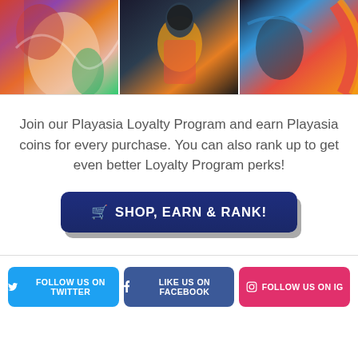[Figure (illustration): Three anime/fighting game screenshots side by side: left shows two anime characters in combat with red/green/purple tones; center shows an anime character in yellow armor against dark background; right shows action scene with blue energy and orange/red fire arc.]
Join our Playasia Loyalty Program and earn Playasia coins for every purchase. You can also rank up to get even better Loyalty Program perks!
[Figure (other): Dark navy blue button with shopping cart icon and text 'SHOP, EARN & RANK!' with drop shadow]
FOLLOW US ON TWITTER
LIKE US ON FACEBOOK
FOLLOW US ON IG